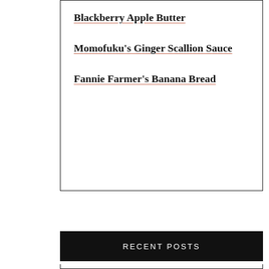Blackberry Apple Butter
Momofuku's Ginger Scallion Sauce
Fannie Farmer's Banana Bread
RECENT POSTS
Herbert Hoover's Sour Cream Cookies
Ricotta, Lemon, and Blackberry Muffins
Deborah Madison's Potato and Chickpea Stew
Richard Nixon's Chicken Casserole
A Room at the Inn, Part 5